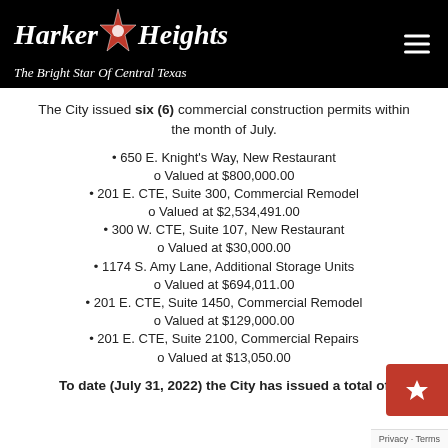Harker Heights – The Bright Star Of Central Texas
The City issued six (6) commercial construction permits within the month of July.
650 E. Knight's Way, New Restaurant
  o Valued at $800,000.00
201 E. CTE, Suite 300, Commercial Remodel
  o Valued at $2,534,491.00
300 W. CTE, Suite 107, New Restaurant
  o Valued at $30,000.00
1174 S. Amy Lane, Additional Storage Units
  o Valued at $694,011.00
201 E. CTE, Suite 1450, Commercial Remodel
  o Valued at $129,000.00
201 E. CTE, Suite 2100, Commercial Repairs
  o Valued at $13,050.00
To date (July 31, 2022) the City has issued a total of